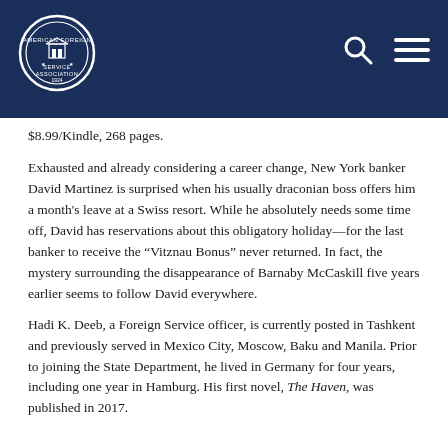[Figure (logo): American Foreign Service Association circular seal/logo in white on dark navy blue header bar]
$8.99/Kindle, 268 pages.
Exhausted and already considering a career change, New York banker David Martinez is surprised when his usually draconian boss offers him a month's leave at a Swiss resort. While he absolutely needs some time off, David has reservations about this obligatory holiday—for the last banker to receive the “Vitznau Bonus” never returned. In fact, the mystery surrounding the disappearance of Barnaby McCaskill five years earlier seems to follow David everywhere.
Hadi K. Deeb, a Foreign Service officer, is currently posted in Tashkent and previously served in Mexico City, Moscow, Baku and Manila. Prior to joining the State Department, he lived in Germany for four years, including one year in Hamburg. His first novel, The Haven, was published in 2017.